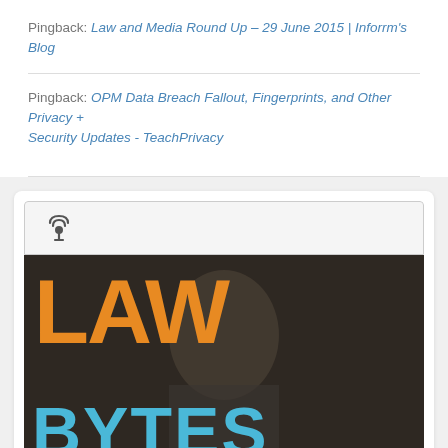Pingback: Law and Media Round Up – 29 June 2015 | Inforrm's Blog
Pingback: OPM Data Breach Fallout, Fingerprints, and Other Privacy + Security Updates - TeachPrivacy
[Figure (other): Law Bytes podcast cover image with orange LAW text and blue BYTES text overlaid on a person in a dark background, with a podcast icon at the top in a light bar]